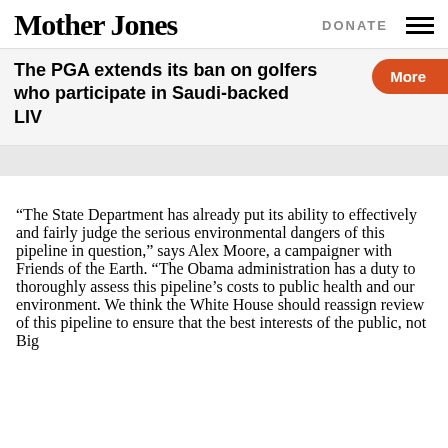Mother Jones | DONATE
The PGA extends its ban on golfers who participate in Saudi-backed LIV | More
“The State Department has already put its ability to effectively and fairly judge the serious environmental dangers of this pipeline in question,” says Alex Moore, a campaigner with Friends of the Earth. “The Obama administration has a duty to thoroughly assess this pipeline’s costs to public health and our environment. We think the White House should reassign review of this pipeline to ensure that the best interests of the public, not Big